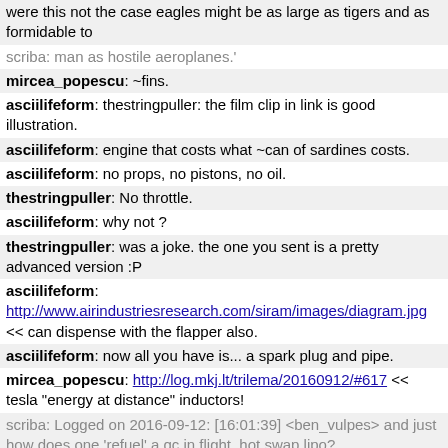were this not the case eagles might be as large as tigers and as formidable to
scriba: man as hostile aeroplanes.'
mircea_popescu: ~fins.
asciilifeform: thestringpuller: the film clip in link is good illustration.
asciilifeform: engine that costs what ~can of sardines costs.
asciilifeform: no props, no pistons, no oil.
thestringpuller: No throttle.
asciilifeform: why not ?
thestringpuller: was a joke. the one you sent is a pretty advanced version :P
asciilifeform: http://www.airindustriesresearch.com/siram/images/diagram.jpg << can dispense with the flapper also.
asciilifeform: now all you have is... a spark plug and pipe.
mircea_popescu: http://log.mkj.lt/trilema/20160912/#617 << tesla "energy at distance" inductors!
scriba: Logged on 2016-09-12: [16:01:39] <ben_vulpes> and just how does one 'refuel' a qc in flight, hot swap lipo?
thestringpuller: BingoBoingo: large amounts of nitro fuel << hobby shops don't seem to care. People go through barrels of the thing during a nerdy weekend with friends on the airfield.
asciilifeform: thestringpuller: $1000 piston engine on 'disposable' machine is idiocy.